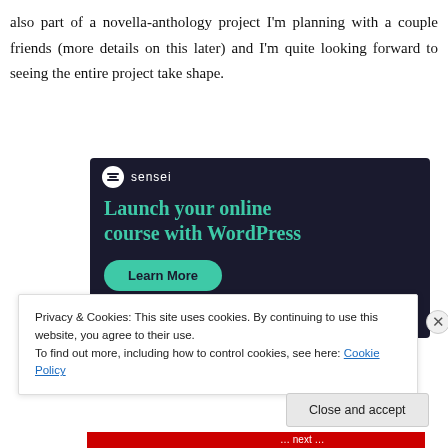also part of a novella-anthology project I'm planning with a couple friends (more details on this later) and I'm quite looking forward to seeing the entire project take shape.
[Figure (infographic): Sensei advertisement: dark navy background with Sensei logo (circle with 'S' icon and 'sensei' text), headline 'Launch your online course with WordPress' in teal, and a 'Learn More' button in teal.]
Privacy & Cookies: This site uses cookies. By continuing to use this website, you agree to their use.
To find out more, including how to control cookies, see here: Cookie Policy